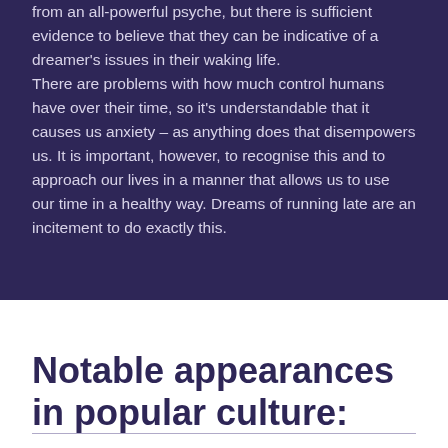from an all-powerful psyche, but there is sufficient evidence to believe that they can be indicative of a dreamer's issues in their waking life.

There are problems with how much control humans have over their time, so it's understandable that it causes us anxiety – as anything does that disempowers us. It is important, however, to recognise this and to approach our lives in a manner that allows us to use our time in a healthy way. Dreams of running late are an incitement to do exactly this.
Notable appearances in popular culture: